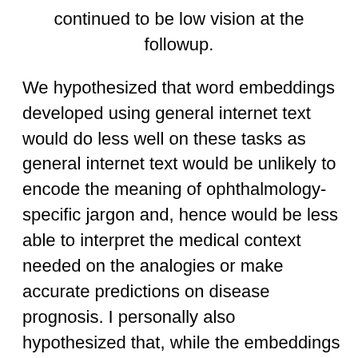continued to be low vision at the followup.
We hypothesized that word embeddings developed using general internet text would do less well on these tasks as general internet text would be unlikely to encode the meaning of ophthalmology-specific jargon and, hence would be less able to interpret the medical context needed on the analogies or make accurate predictions on disease prognosis. I personally also hypothesized that, while the embeddings trained on ophthalmology literature would outperform embeddings from the general internet, that they would underperform embeddings that were trained on EHR notes as the way physicians write clinical notes is very different from how they write journal